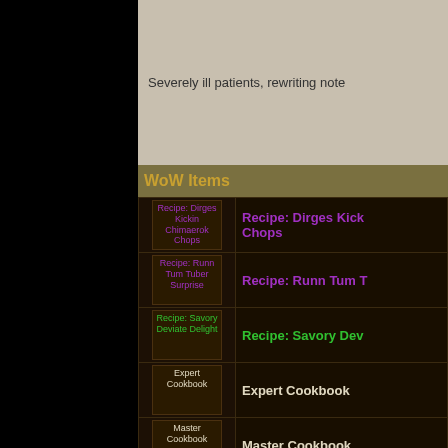Severely ill patients, rewriting note
WoW Items
| Icon | Name |
| --- | --- |
| Recipe: Dirges Kickin Chimaerok Chops | Recipe: Dirges Kickin Chops |
| Recipe: Runn Tum Tuber Surprise | Recipe: Runn Tum T |
| Recipe: Savory Deviate Delight | Recipe: Savory Dev |
| Expert Cookbook | Expert Cookbook |
| Master Cookbook | Master Cookbook |
| Recipe: Baked Salmon | Recipe: Baked Salm |
| Recipe: Barbecued Buzzard Wing | Recipe: Barbecued |